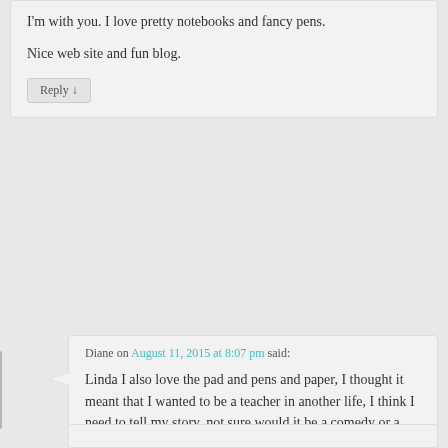I'm with you. I love pretty notebooks and fancy pens.
Nice web site and fun blog.
Reply
Diane on August 11, 2015 at 8:07 pm said:
Linda I also love the pad and pens and paper, I thought it meant that I wanted to be a teacher in another life, I think I need to tell my story, not sure would it be a comedy or a sad mystery? Maybe I should stick to journaling.
Reply